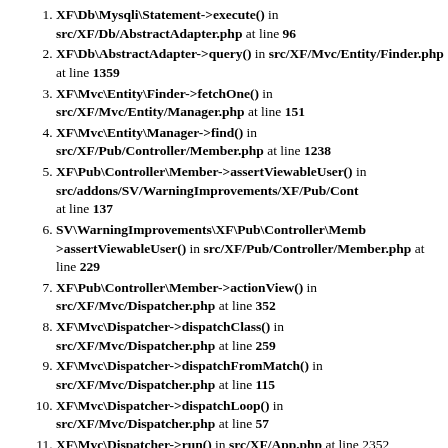XF\Db\Mysqli\Statement->execute() in src/XF/Db/AbstractAdapter.php at line 96
XF\Db\AbstractAdapter->query() in src/XF/Mvc/Entity/Finder.php at line 1359
XF\Mvc\Entity\Finder->fetchOne() in src/XF/Mvc/Entity/Manager.php at line 151
XF\Mvc\Entity\Manager->find() in src/XF/Pub/Controller/Member.php at line 1238
XF\Pub\Controller\Member->assertViewableUser() in src/addons/SV/WarningImprovements/XF/Pub/Cont at line 137
SV\WarningImprovements\XF\Pub\Controller\Memb->assertViewableUser() in src/XF/Pub/Controller/Member.php at line 229
XF\Pub\Controller\Member->actionView() in src/XF/Mvc/Dispatcher.php at line 352
XF\Mvc\Dispatcher->dispatchClass() in src/XF/Mvc/Dispatcher.php at line 259
XF\Mvc\Dispatcher->dispatchFromMatch() in src/XF/Mvc/Dispatcher.php at line 115
XF\Mvc\Dispatcher->dispatchLoop() in src/XF/Mvc/Dispatcher.php at line 57
XF\Mvc\Dispatcher->run() in src/XF/App.php at line 2352